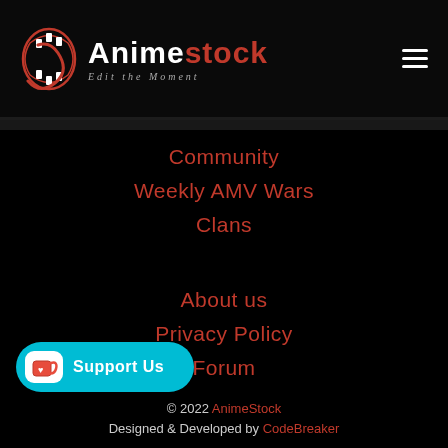[Figure (logo): AnimeStock logo with film roll icon, text 'Animestock' in white and red, tagline 'Edit the Moment' in italic below]
Community
Weekly AMV Wars
Clans
About us
Privacy Policy
Forum
[Figure (other): Cyan 'Support Us' button with Ko-fi cup icon on the left side]
© 2022 AnimeStock
Designed & Developed by CodeBreaker